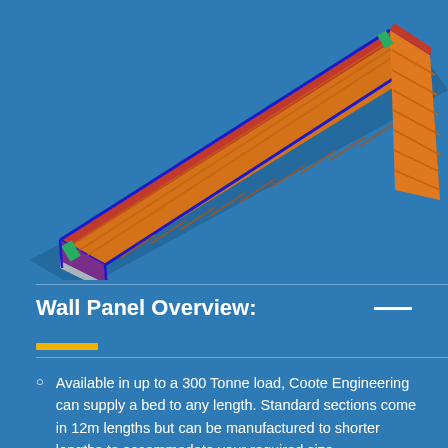[Figure (engineering-diagram): 3D CAD rendering of a wall panel / conveyor bed assembly shown at an angle, featuring orange structural frame with red, blue, purple, and gray components. Viewed from above at a diagonal.]
Wall Panel Overview:
Available in up to a 300 Tonne load, Coote Engineering can supply a bed to any length. Standard sections come in 12m lengths but can be manufactured to shorter lengths to accommodate your required size.